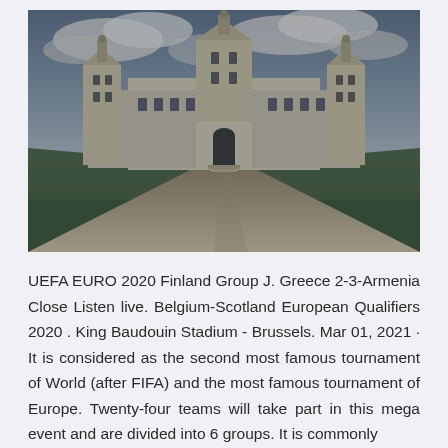[Figure (photo): Photograph of a large French Renaissance château (resembling Château de Chambord) viewed from a straight central pathway, flanked by green lawns, under a cloudy sky.]
UEFA EURO 2020 Finland Group J. Greece 2-3-Armenia Close Listen live. Belgium-Scotland European Qualifiers 2020 . King Baudouin Stadium - Brussels. Mar 01, 2021 · It is considered as the second most famous tournament of World (after FIFA) and the most famous tournament of Europe. Twenty-four teams will take part in this mega event and are divided into 6 groups. It is commonly